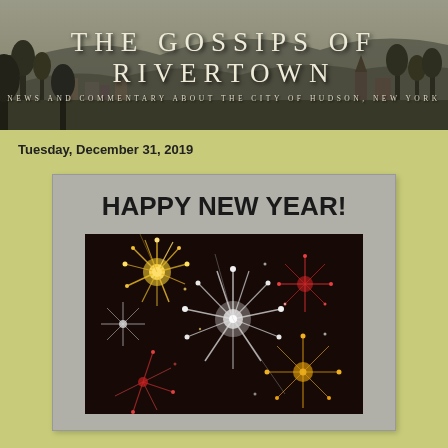THE GOSSIPS OF RIVERTOWN
NEWS AND COMMENTARY ABOUT THE CITY OF HUDSON, NEW YORK
Tuesday, December 31, 2019
[Figure (illustration): Happy New Year greeting card with bold text 'HAPPY NEW YEAR!' above a dark photograph of colorful fireworks bursting against a black night sky, on a gray card background]